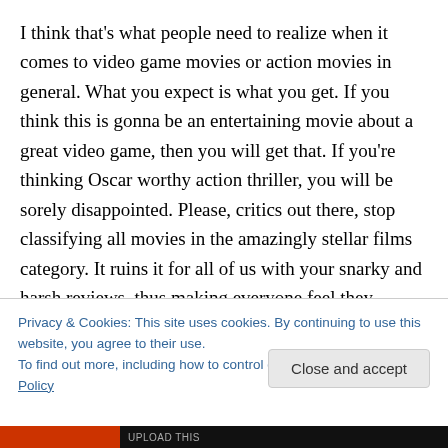I think that's what people need to realize when it comes to video game movies or action movies in general. What you expect is what you get. If you think this is gonna be an entertaining movie about a great video game, then you will get that. If you're thinking Oscar worthy action thriller, you will be sorely disappointed. Please, critics out there, stop classifying all movies in the amazingly stellar films category. It ruins it for all of us with your snarky and harsh reviews, thus making everyone feel they should believe
Privacy & Cookies: This site uses cookies. By continuing to use this website, you agree to their use.
To find out more, including how to control cookies, see here: Cookie Policy
Close and accept